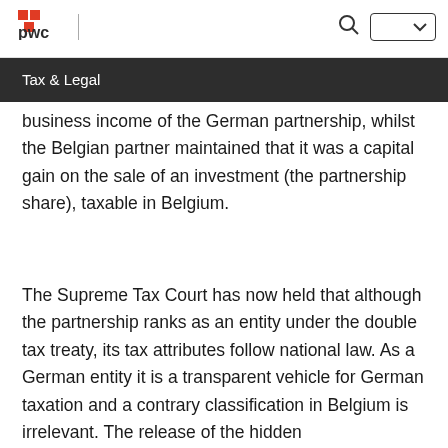pwc | [search icon] [dropdown]
Tax & Legal
business income of the German partnership, whilst the Belgian partner maintained that it was a capital gain on the sale of an investment (the partnership share), taxable in Belgium.
The Supreme Tax Court has now held that although the partnership ranks as an entity under the double tax treaty, its tax attributes follow national law. As a German entity it is a transparent vehicle for German taxation and a contrary classification in Belgium is irrelevant. The release of the hidden